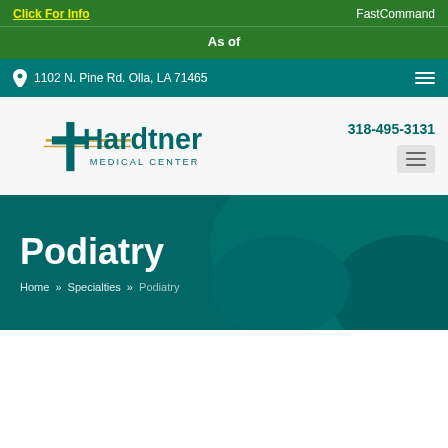Click For Info   FastCommand
As of
1102 N. Pine Rd. Olla, LA 71465
[Figure (logo): Hardtner Medical Center logo with teal cross and swoosh marks]
318-495-3131
Podiatry
Home » Specialties » Podiatry